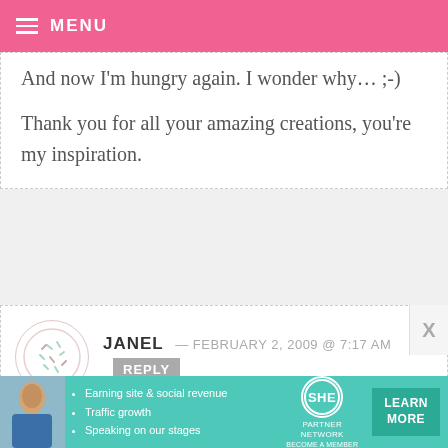MENU
And now I'm hungry again. I wonder why… ;-)
Thank you for all your amazing creations, you're my inspiration.
JANEL — FEBRUARY 2, 2009 @ 7:17 AM REPLY
I could never eat those–what a work of art. But if I got started, I'm sure I'd have a hard time stopping!
[Figure (infographic): SHE Partner Network advertisement banner with photo of woman, bullet points about earning site & social revenue, traffic growth, speaking on stages, and a LEARN MORE button.]